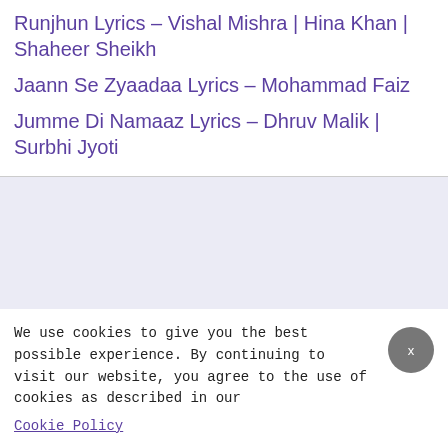Runjhun Lyrics – Vishal Mishra | Hina Khan | Shaheer Sheikh
Jaann Se Zyaadaa Lyrics – Mohammad Faiz
Jumme Di Namaaz Lyrics – Dhruv Malik | Surbhi Jyoti
[Figure (other): Advertisement banner area with light purple/grey background]
We use cookies to give you the best possible experience. By continuing to visit our website, you agree to the use of cookies as described in our Cookie Policy